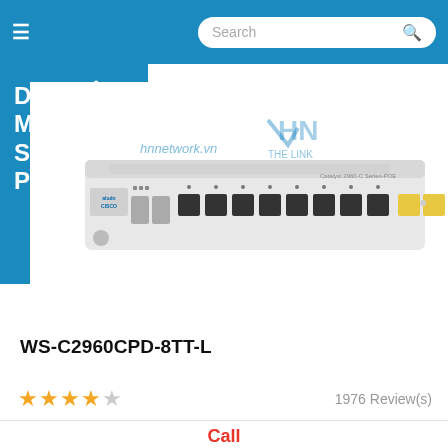DANH MỤC SẢN PHẨM
[Figure (photo): Cisco Catalyst WS-C2960CPD-8TT-L network switch, front view showing 8 ethernet ports and 2 uplink ports, white/gray chassis, with hnnetwork.vn and THE LINK HN watermarks]
WS-C2960CPD-8TT-L
★★★★☆  1976 Review(s)
Call